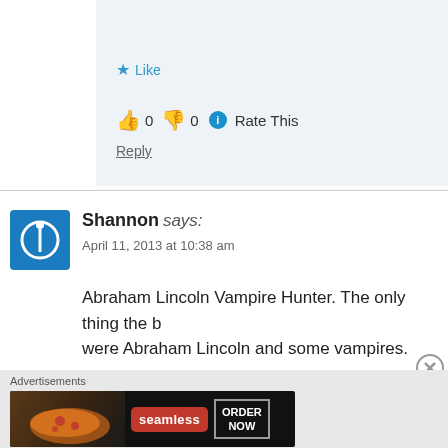the films.
Like
👍 0 👎 0 ℹ Rate This
Reply
Shannon says: April 11, 2013 at 10:38 am
Abraham Lincoln Vampire Hunter. The only thing the book were Abraham Lincoln and some vampires.
Like
Advertisements